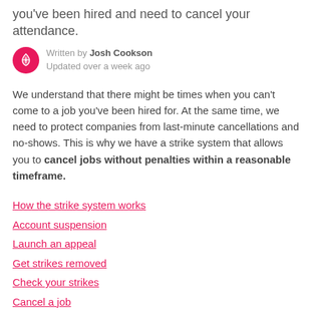you've been hired and need to cancel your attendance.
Written by Josh Cookson
Updated over a week ago
We understand that there might be times when you can't come to a job you've been hired for. At the same time, we need to protect companies from last-minute cancellations and no-shows. This is why we have a strike system that allows you to cancel jobs without penalties within a reasonable timeframe.
How the strike system works
Account suspension
Launch an appeal
Get strikes removed
Check your strikes
Cancel a job
In summary